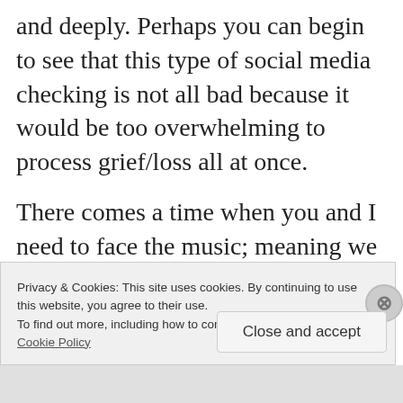and deeply. Perhaps you can begin to see that this type of social media checking is not all bad because it would be too overwhelming to process grief/loss all at once.
There comes a time when you and I need to face the music; meaning we need to sit with the feelings, deal and heal. When is that time? The time is when you or others become aware of what you are doing and
Privacy & Cookies: This site uses cookies. By continuing to use this website, you agree to their use.
To find out more, including how to control cookies, see here: Cookie Policy
Close and accept